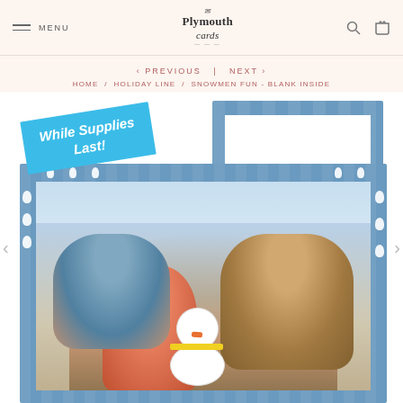MENU | Plymouth Cards | Search | Cart
< PREVIOUS  |  NEXT >
HOME / HOLIDAY LINE / SNOWMEN FUN - BLANK INSIDE
[Figure (photo): Product photo showing holiday greeting cards with snowmen border design. A blue badge overlay reads 'While Supplies Last!' in white italic text. The main card features a family photo of two adults and a child with a snowman, surrounded by a blue border decorated with cartoon snowmen characters. Behind the main card is a partially visible second card with the same snowmen border design.]